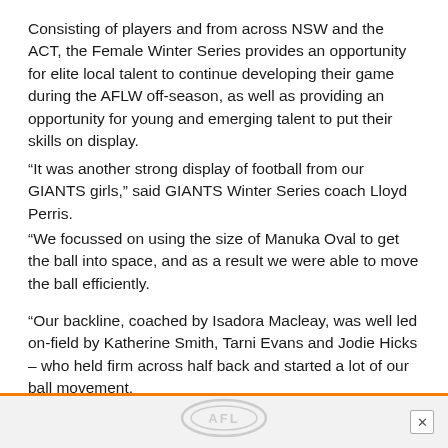Consisting of players and from across NSW and the ACT, the Female Winter Series provides an opportunity for elite local talent to continue developing their game during the AFLW off-season, as well as providing an opportunity for young and emerging talent to put their skills on display.
“It was another strong display of football from our GIANTS girls,” said GIANTS Winter Series coach Lloyd Perris.
“We focussed on using the size of Manuka Oval to get the ball into space, and as a result we were able to move the ball efficiently.
“Our backline, coached by Isadora Macleay, was well led on-field by Katherine Smith, Tarni Evans and Jodie Hicks – who held firm across half back and started a lot of our ball movement.
[Figure (logo): AFL logo watermark in light grey at bottom center of page]